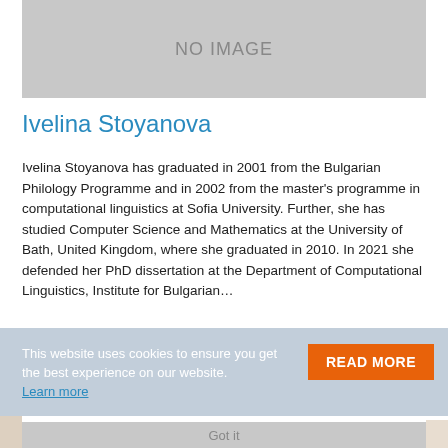[Figure (other): Placeholder image box with text NO IMAGE on grey background]
Ivelina Stoyanova
Ivelina Stoyanova has graduated in 2001 from the Bulgarian Philology Programme and in 2002 from the master's programme in computational linguistics at Sofia University. Further, she has studied Computer Science and Mathematics at the University of Bath, United Kingdom, where she graduated in 2010. In 2021 she defended her PhD dissertation at the Department of Computational Linguistics, Institute for Bulgarian…
This website uses cookies to ensure you get the best experience on our website. Learn more
READ MORE